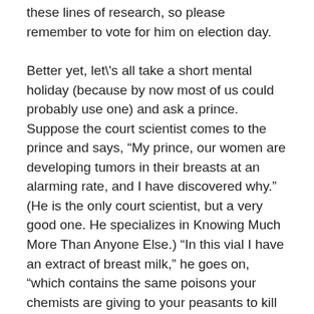these lines of research, so please remember to vote for him on election day.
Better yet, let's all take a short mental holiday (because by now most of us could probably use one) and ask a prince. Suppose the court scientist comes to the prince and says, “My prince, our women are developing tumors in their breasts at an alarming rate, and I have discovered why.” (He is the only court scientist, but a very good one. He specializes in Knowing Much More Than Anyone Else.) “In this vial I have an extract of breast milk,” he goes on, “which contains the same poisons your chemists are giving to your peasants to kill insects. I have fed these poisons to rats, and they too developed tumors. The poisons must be banned.” The prince, his pampered hand resting lightly on a leather-bound volume by Niccolò Machiavelli, thinks to himself: “These chemists say that